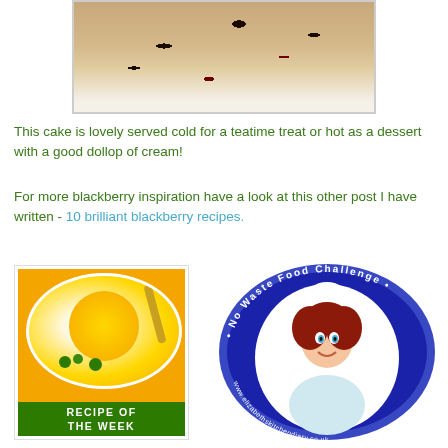[Figure (photo): Close-up photo of a blackberry cake/pastry with dark berries visible on a light background, shown from above]
This cake is lovely served cold for a teatime treat or hot as a dessert with a good dollop of cream!
For more blackberry inspiration have a look at this other post I have written - 10 brilliant blackberry recipes.
[Figure (photo): Recipe of the Week badge showing a bowl of orange/yellow soup with green garnish on a yellow background with green banner text reading RECIPE OF THE WEEK]
[Figure (logo): No Waste Food Challenge circular logo badge in blue with a cartoon illustration of a red-haired female chef in white uniform, website URL www.elizabethskitchendiary.co.uk around the edge]